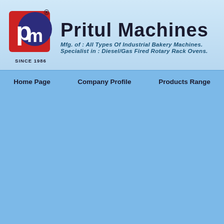[Figure (logo): Pritul Machines company logo with PM letters in red and dark blue circular badge, with registered trademark symbol]
Pritul Machines
Mfg. of : All Types Of Industrial Bakery Machines. Specialist in : Diesel/Gas Fired Rotary Rack Ovens.
SINCE 1986
Home Page
Company Profile
Products Range